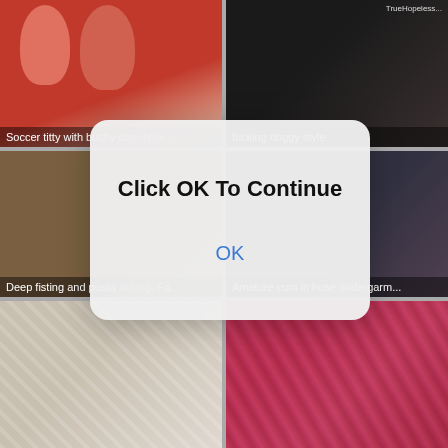[Figure (screenshot): Grid of 6 adult video thumbnails with captions, overlaid by a modal dialog saying 'Click OK To Continue' with an OK button]
Soccer titty with bushy cum-hole ...
fucking doggy style
Deep fisting and pussy licking. Fa...
Amature cum in hose undergarm...
Click OK To Continue
OK